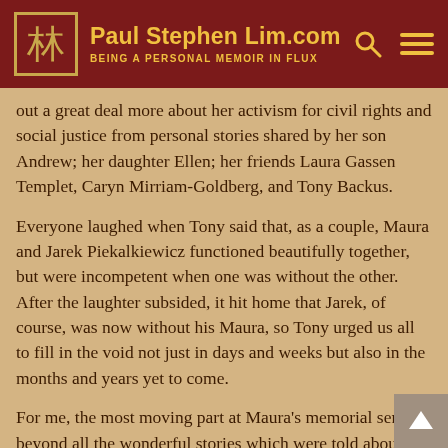Paul Stephen Lim.com — BEING A PERSONAL MEMOIR IN FLUX
out a great deal more about her activism for civil rights and social justice from personal stories shared by her son Andrew; her daughter Ellen; her friends Laura Gassen Templet, Caryn Mirriam-Goldberg, and Tony Backus.
Everyone laughed when Tony said that, as a couple, Maura and Jarek Piekalkiewicz functioned beautifully together, but were incompetent when one was without the other.  After the laughter subsided, it hit home that Jarek, of course, was now without his Maura, so Tony urged us all to fill in the void not just in days and weeks but also in the months and years yet to come.
For me, the most moving part at Maura's memorial service, beyond all the wonderful stories which were told about her, was the moment when everyone was